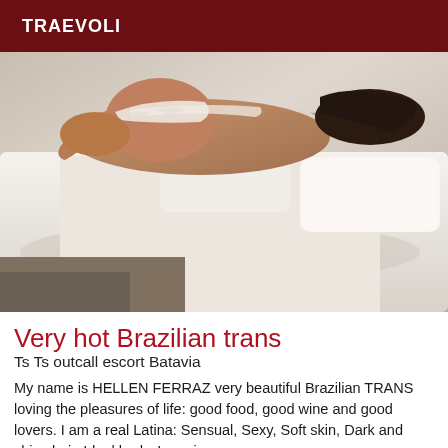TRAEVOLI
[Figure (photo): Person lying on a white bed/sheets, viewed from behind, wearing white lingerie, with dark hair visible.]
Very hot Brazilian trans
Ts Ts outcall escort Batavia
My name is HELLEN FERRAZ very beautiful Brazilian TRANS loving the pleasures of life: good food, good wine and good lovers. I am a real Latina: Sensual, Sexy, Soft skin, Dark and shiny hair, Ideal body, I receive very